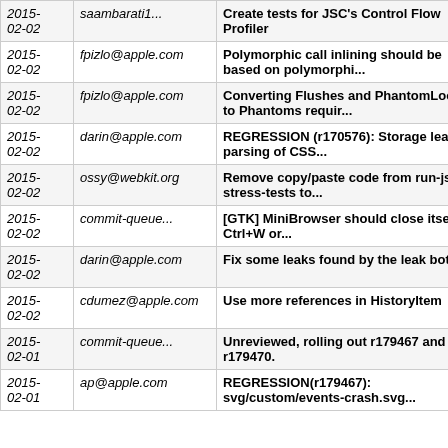|  |  |  |
| --- | --- | --- |
| 2015-02-02 | saambarati1... | Create tests for JSC's Control Flow Profiler |
| 2015-02-02 | fpizlo@apple.com | Polymorphic call inlining should be based on polymorphi... |
| 2015-02-02 | fpizlo@apple.com | Converting Flushes and PhantomLocals to Phantoms requir... |
| 2015-02-02 | darin@apple.com | REGRESSION (r170576): Storage leak parsing of CSS... |
| 2015-02-02 | ossy@webkit.org | Remove copy/paste code from run-js-stress-tests to... |
| 2015-02-02 | commit-queue... | [GTK] MiniBrowser should close itself Ctrl+W or... |
| 2015-02-02 | darin@apple.com | Fix some leaks found by the leak bot |
| 2015-02-02 | cdumez@apple.com | Use more references in HistoryItem |
| 2015-02-01 | commit-queue... | Unreviewed, rolling out r179467 and r179470. |
| 2015-02-01 | ap@apple.com | REGRESSION(r179467): svg/custom/events-crash.svg... |